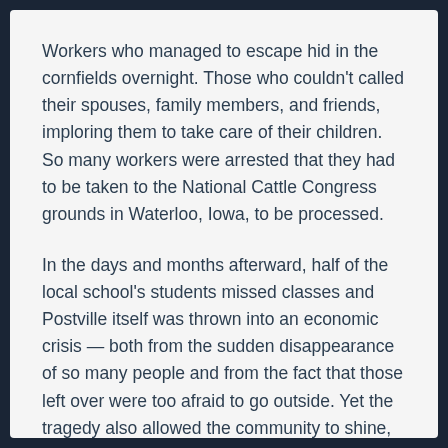Workers who managed to escape hid in the cornfields overnight. Those who couldn't called their spouses, family members, and friends, imploring them to take care of their children. So many workers were arrested that they had to be taken to the National Cattle Congress grounds in Waterloo, Iowa, to be processed.
In the days and months afterward, half of the local school's students missed classes and Postville itself was thrown into an economic crisis — both from the sudden disappearance of so many people and from the fact that those left over were too afraid to go outside. Yet the tragedy also allowed the community to shine, as residents banded together to donate goods and services, and St. Bridget's Catholic Church became the epicenter of the recovery process.